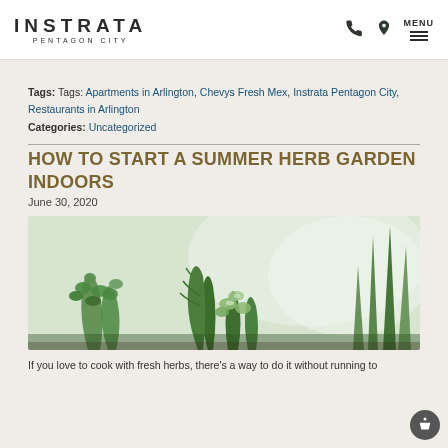INSTRATA PENTAGON CITY
Tags: Tags: Apartments in Arlington, Chevys Fresh Mex, Instrata Pentagon City, Restaurants in Arlington Categories: Uncategorized
HOW TO START A SUMMER HERB GARDEN INDOORS
June 30, 2020
[Figure (photo): Close-up photo of indoor herb garden with green herbs including what appears to be rosemary and other leafy herbs]
If you love to cook with fresh herbs, there's a way to do it without running to